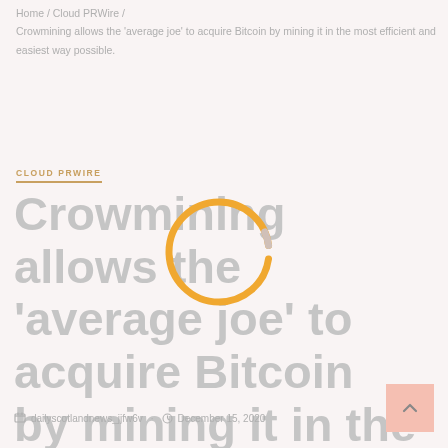Home / Cloud PRWire / Crowmining allows the ‘average joe’ to acquire Bitcoin by mining it in the most efficient and easiest way possible.
CLOUD PRWIRE
Crowmining allows the ‘average joe’ to acquire Bitcoin by mining it in the most efficient and easiest way possible.
[Figure (other): Circular loading spinner / progress indicator with orange/yellow color, mostly complete circle with a small gap at the top right.]
dailyscotlandnews_jjfw6v · December 15, 2020